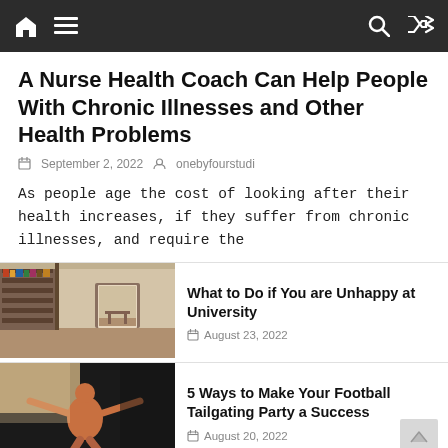Navigation bar with home, menu, search, shuffle icons
A Nurse Health Coach Can Help People With Chronic Illnesses and Other Health Problems
September 2, 2022  onebyfourstudi
As people age the cost of looking after their health increases, if they suffer from chronic illnesses, and require the
[Figure (photo): Library interior with bookshelves and a doorway]
What to Do if You are Unhappy at University
August 23, 2022
[Figure (photo): Person doing a stretch or yoga pose]
5 Ways to Make Your Football Tailgating Party a Success
August 20, 2022